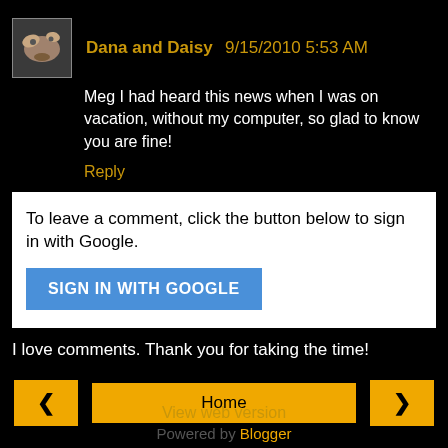Dana and Daisy 9/15/2010 5:53 AM
Meg I had heard this news when I was on vacation, without my computer, so glad to know you are fine!
Reply
To leave a comment, click the button below to sign in with Google.
SIGN IN WITH GOOGLE
I love comments. Thank you for taking the time!
‹
Home
›
View web version
Powered by Blogger